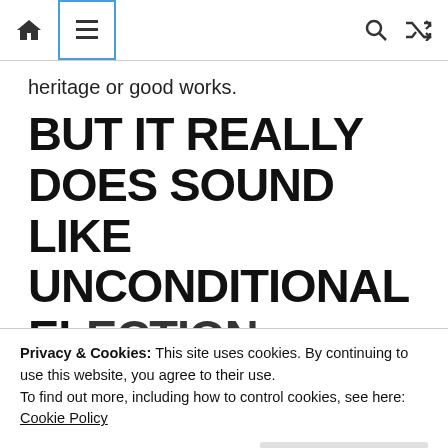Navigation bar with home icon, menu icon, search icon, and shuffle icon
heritage or good works.
BUT IT REALLY DOES SOUND LIKE UNCONDITIONAL ELECTION
Privacy & Cookies: This site uses cookies. By continuing to use this website, you agree to their use. To find out more, including how to control cookies, see here: Cookie Policy
personally, as quoted in my second